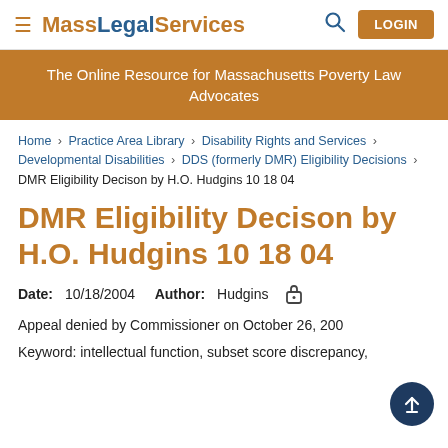MassLegalServices — LOGIN
The Online Resource for Massachusetts Poverty Law Advocates
Home › Practice Area Library › Disability Rights and Services › Developmental Disabilities › DDS (formerly DMR) Eligibility Decisions › DMR Eligibility Decison by H.O. Hudgins 10 18 04
DMR Eligibility Decison by H.O. Hudgins 10 18 04
Date: 10/18/2004   Author: Hudgins
Appeal denied by Commissioner on October 26, 200
Keyword: intellectual function, subset score discrepancy,